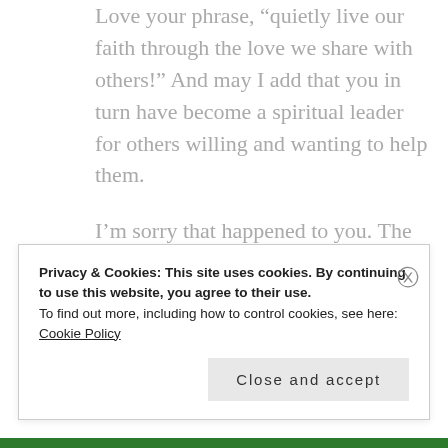Love your phrase, “quietly live our faith through the love we share with others!” And may I add that you in turn have become a spiritual leader for others willing and wanting to help them.
I’m sorry that happened to you. The strength in numbers can really be such an awful and powerful dynamic in the hands of people with bad leadership
Privacy & Cookies: This site uses cookies. By continuing to use this website, you agree to their use.
To find out more, including how to control cookies, see here:
Cookie Policy
Close and accept